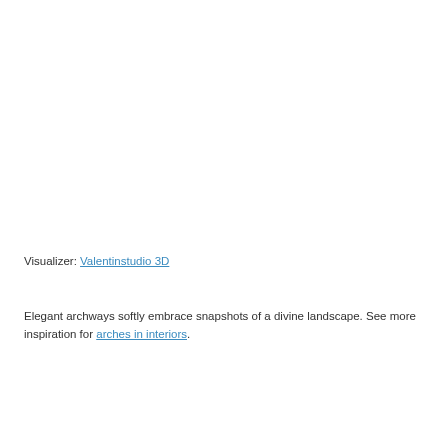Visualizer: Valentinstudio 3D
Elegant archways softly embrace snapshots of a divine landscape. See more inspiration for arches in interiors.